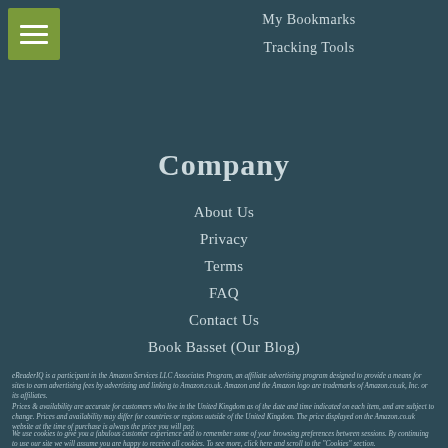My Bookmarks
Tracking Tools
Company
About Us
Privacy
Terms
FAQ
Contact Us
Book Basset (Our Blog)
eReaderIQ is a participant in the Amazon Services LLC Associates Program, an affiliate advertising program designed to provide a means for sites to earn advertising fees by advertising and linking to Amazon.co.uk. Amazon and the Amazon logo are trademarks of Amazon.co.uk, Inc. or its affiliates.
Prices & availability are accurate for customers who live in the United Kingdom as of the date and time indicated on each item, and are subject to change. Prices and availability may differ for countries or regions outside of the United Kingdom. The price displayed on the Amazon.co.uk website at the time of purchase is always the price you will pay.
We use cookies to give you a fabulous customer experience and to remember some of your browsing preferences between sessions. By continuing to use our site we will assume you are happy to receive all cookies. To see more, click here and scroll to the "Cookies" section.